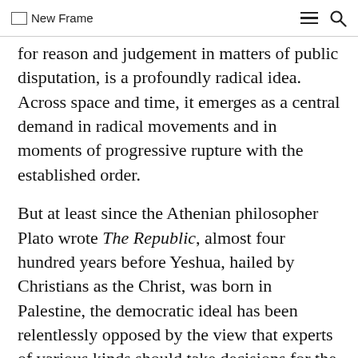New Frame
for reason and judgement in matters of public disputation, is a profoundly radical idea. Across space and time, it emerges as a central demand in radical movements and in moments of progressive rupture with the established order.

But at least since the Athenian philosopher Plato wrote The Republic, almost four hundred years before Yeshua, hailed by Christians as the Christ, was born in Palestine, the democratic ideal has been relentlessly opposed by the view that experts of various kinds should take decisions for the people. The ascription of